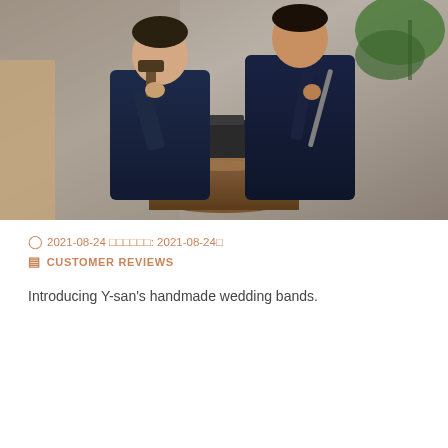[Figure (photo): Two people wearing dark denim aprons sitting at a wooden stump with a metal anvil, holding metalworking tools (hammer and rod), in a studio with concrete walls and a plant in the background. They appear to be making handmade wedding bands.]
2021-08-24 □□□□□□: 2021-08-24□
CUSTOMER REVIEWS
Introducing Y-san's handmade wedding bands.